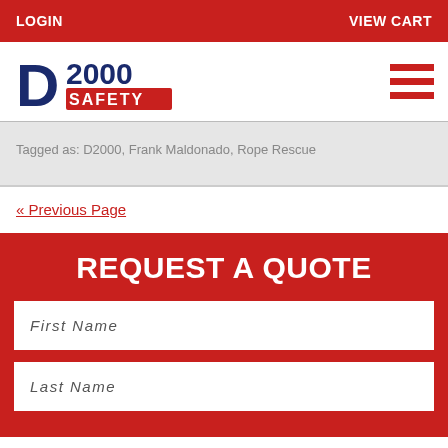LOGIN   VIEW CART
[Figure (logo): D2000 Safety logo with large D and 2000 text above SAFETY on red background, with hamburger menu icon on right]
Tagged as: D2000, Frank Maldonado, Rope Rescue
« Previous Page
REQUEST A QUOTE
First Name
Last Name